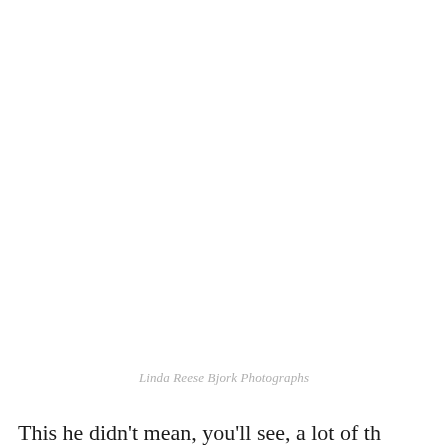[Figure (photo): Blank/white image area occupying the upper portion of the page]
Linda Reese Bjork Photographs
This he didn't mean, you'll see, a lot of th